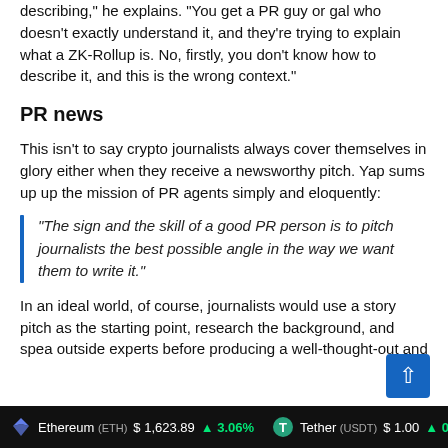describing," he explains. "You get a PR guy or gal who doesn't exactly understand it, and they're trying to explain what a ZK-Rollup is. No, firstly, you don't know how to describe it, and this is the wrong context."
PR news
This isn't to say crypto journalists always cover themselves in glory either when they receive a newsworthy pitch. Yap sums up up the mission of PR agents simply and eloquently:
“The sign and the skill of a good PR person is to pitch journalists the best possible angle in the way we want them to write it.”
In an ideal world, of course, journalists would use a story pitch as the starting point, research the background, and spea outside experts before producing a well-thought-out and
Ethereum (ETH) $1,623.89 ▲3.06%   Tether (USDT) $1.00 ▲0